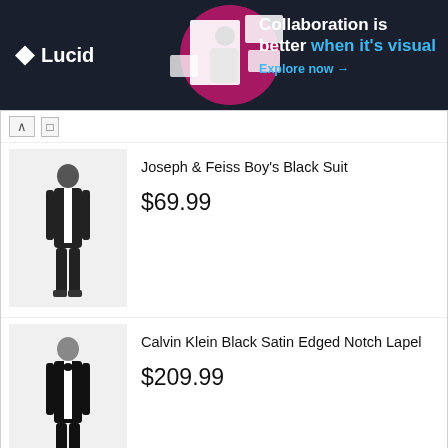[Figure (other): Lucid advertisement banner: dark navy background with Lucid logo on left, central image of person with floating UI elements, right side text 'Collaboration is better when it's visual' with 'Explore now →' link in blue]
Joseph & Feiss Boy's Black Suit
$69.99
Calvin Klein Black Satin Edged Notch Lapel
$209.99
[Figure (other): Word search puzzle grid with letters arranged in rows and columns. Rows: ORBUOIEVBLVRNSPDOKALAR, NAQRZNPBQBFEETMEMICANI, JMZGEXECEEYHCRCREW KCGC, BBBONFAEPRTDTAIBGIBKEO, TLARNIRARRPAWT ERFECRT, FESAWGREKYEYRBR RARRUIS, ADHNY GBGFLM LIEORNURRNL, LPEGOPQL PNNTNRNYAIYREI, COVESFLPLUMWERLITTACM, ZPGAESADGSIWPYQHEJGNEE, JFRAXEPASSIONFRUIITNTMQ, YKOGNQXHBBFREDCURRANTB, BVXIUBBANANACLEMENTINE]